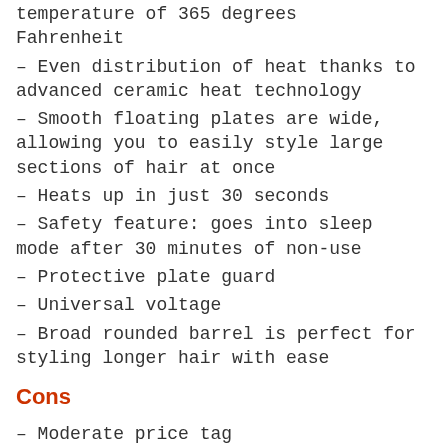temperature of 365 degrees Fahrenheit
– Even distribution of heat thanks to advanced ceramic heat technology
– Smooth floating plates are wide, allowing you to easily style large sections of hair at once
– Heats up in just 30 seconds
– Safety feature: goes into sleep mode after 30 minutes of non-use
– Protective plate guard
– Universal voltage
– Broad rounded barrel is perfect for styling longer hair with ease
Cons
– Moderate price tag
– Designed specifically for longer hair